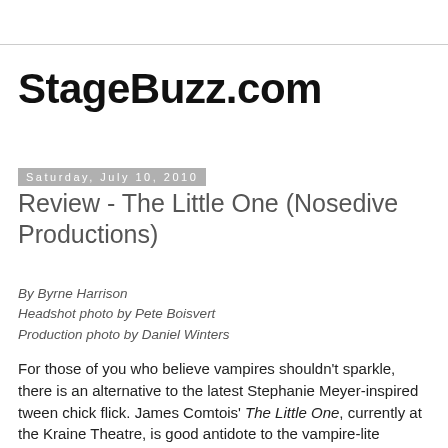StageBuzz.com
Saturday, July 10, 2010
Review - The Little One (Nosedive Productions)
By Byrne Harrison
Headshot photo by Pete Boisvert
Production photo by Daniel Winters
For those of you who believe vampires shouldn't sparkle, there is an alternative to the latest Stephanie Meyer-inspired tween chick flick. James Comtois' The Little One, currently at the Kraine Theatre, is good antidote to the vampire-lite version that is currently gracing local movie theatres.